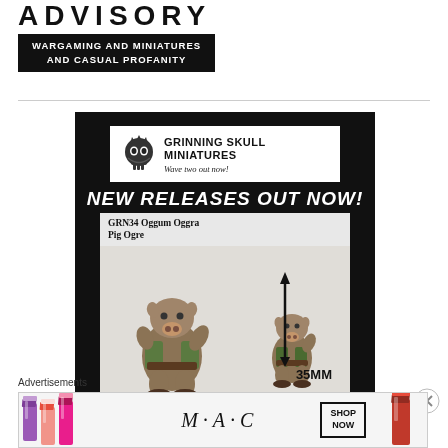ADVISORY
WARGAMING AND MINIATURES AND CASUAL PROFANITY
[Figure (illustration): Advertisement for Grinning Skull Miniatures showing two painted pig ogre miniatures (GRN34 Oggum Oggra Pig Ogre) on a black background with the text 'NEW RELEASES OUT NOW!' and a 35mm scale indicator.]
Advertisements
[Figure (illustration): MAC cosmetics advertisement showing lipsticks in purple, pink, and red colors with MAC brand name and a SHOP NOW button.]